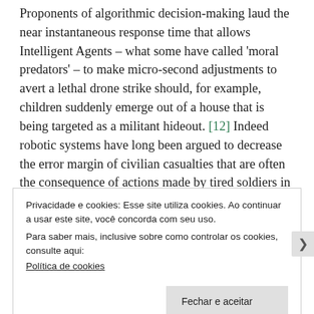Proponents of algorithmic decision-making laud the near instantaneous response time that allows Intelligent Agents – what some have called 'moral predators' – to make micro-second adjustments to avert a lethal drone strike should, for example, children suddenly emerge out of a house that is being targeted as a militant hideout. [12] Indeed robotic systems have long been argued to decrease the error margin of civilian casualties that are often the consequence of actions made by tired soldiers in the field. Nor are machines overly concerned with their own self-preservation, which might likewise cloud judgement under conditions of duress. Yet, as Sabine Gless and Herbert Zech ask, if these 'Intelligent Agents are often used in areas
Privacidade e cookies: Esse site utiliza cookies. Ao continuar a usar este site, você concorda com seu uso.
Para saber mais, inclusive sobre como controlar os cookies, consulte aqui:
Política de cookies
Fechar e aceitar